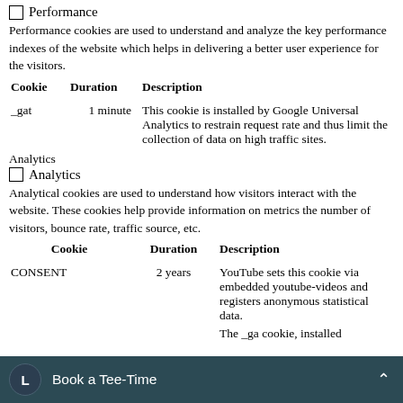Performance
Performance cookies are used to understand and analyze the key performance indexes of the website which helps in delivering a better user experience for the visitors.
| Cookie | Duration | Description |
| --- | --- | --- |
| _gat | 1 minute | This cookie is installed by Google Universal Analytics to restrain request rate and thus limit the collection of data on high traffic sites. |
Analytics
Analytics
Analytical cookies are used to understand how visitors interact with the website. These cookies help provide information on metrics the number of visitors, bounce rate, traffic source, etc.
| Cookie | Duration | Description |
| --- | --- | --- |
| CONSENT | 2 years | YouTube sets this cookie via embedded youtube-videos and registers anonymous statistical data. |
|  |  | The _ga cookie, installed |
Book a Tee-Time